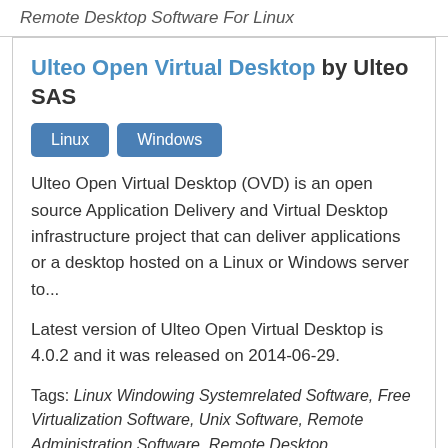Remote Desktop Software For Linux
Ulteo Open Virtual Desktop by Ulteo SAS
Ulteo Open Virtual Desktop (OVD) is an open source Application Delivery and Virtual Desktop infrastructure project that can deliver applications or a desktop hosted on a Linux or Windows server to...
Latest version of Ulteo Open Virtual Desktop is 4.0.2 and it was released on 2014-06-29.
Tags: Linux Windowing Systemrelated Software, Free Virtualization Software, Unix Software, Remote Administration Software, Remote Desktop